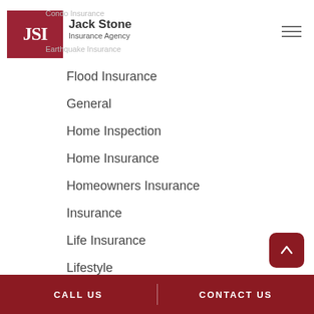[Figure (logo): JSI Jack Stone Insurance Agency logo — red square with white JSI letters, with overlaid nav text 'Condo Insurance' and 'Earthquake Insurance' in gray]
Flood Insurance
General
Home Inspection
Home Insurance
Homeowners Insurance
Insurance
Life Insurance
Lifestyle
CALL US | CONTACT US